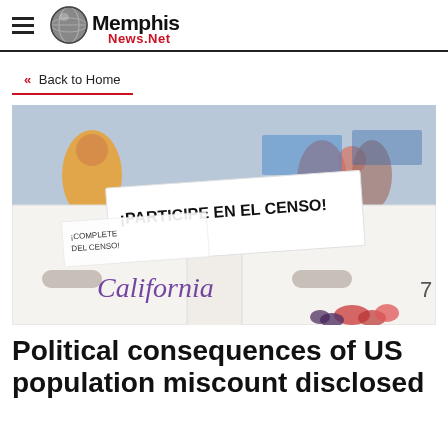Memphis News.Net
« Back to Home
[Figure (photo): Photo of boxes labeled 'California' with signs reading '¡PARTICIPE EN EL CENSO!' and '¡COMPLETE DEL CENSO!' at what appears to be an outdoor food distribution event with people in the background.]
Political consequences of US population miscount disclosed